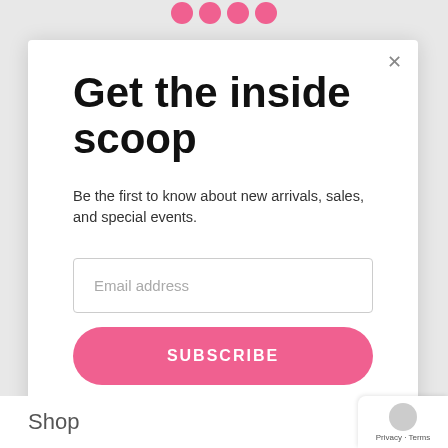[Figure (other): Four pink social media icon circles in a row at the top of the page]
Get the inside scoop
Be the first to know about new arrivals, sales, and special events.
Email address (input field placeholder)
SUBSCRIBE (button)
Shop